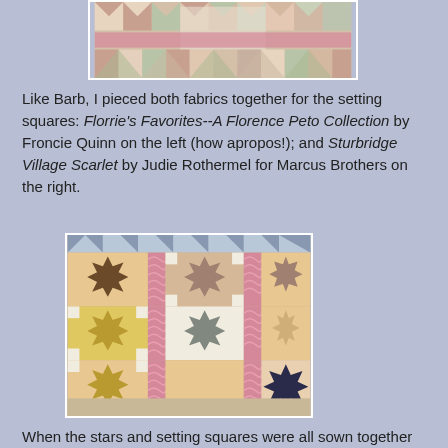[Figure (photo): Partial view of a quilt with star and checkerboard patterns in pinks, creams, and muted colors]
Like Barb, I pieced both fabrics together for the setting squares: Florrie's Favorites--A Florence Peto Collection by Froncie Quinn on the left (how apropos!); and Sturbridge Village Scarlet by Judie Rothermel for Marcus Brothers on the right.
[Figure (photo): Quilt with star blocks in brown, gold, and dark navy on floral and striped fabric backgrounds, arranged in a grid]
When the stars and setting squares were all sown together